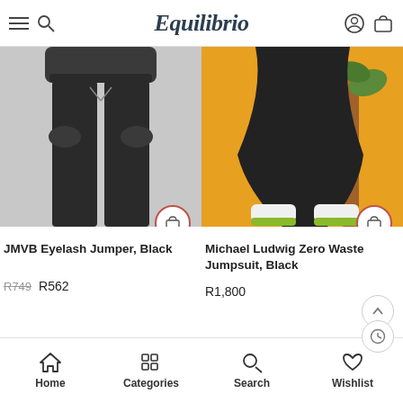Equilibrio
[Figure (photo): Product photo of JMVB Eyelash Jumper in black, showing lower torso with black jogger-style pants]
[Figure (photo): Product photo of Michael Ludwig Zero Waste Jumpsuit in black, worn by a figure on orange background with white sneakers]
JMVB Eyelash Jumper, Black
R749  R562
Michael Ludwig Zero Waste Jumpsuit, Black
R1,800
[Figure (photo): Sale product thumbnail with blue background and SALE badge]
[Figure (photo): Sale product thumbnail with dark background and SALE badge]
Home  Categories  Search  Wishlist